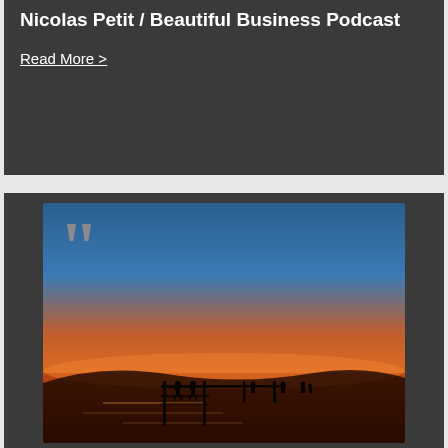Nicolas Petit / Beautiful Business Podcast
Read More >
[Figure (illustration): Inspirational quote image over a sunset lake scene with silhouetted figures on a dock. Large quotation marks in the upper left, bold white text reading: As Plato reminded us, "be kind, for each person you meet is fighting a great battle." Often, that battle for each of us, is within.]